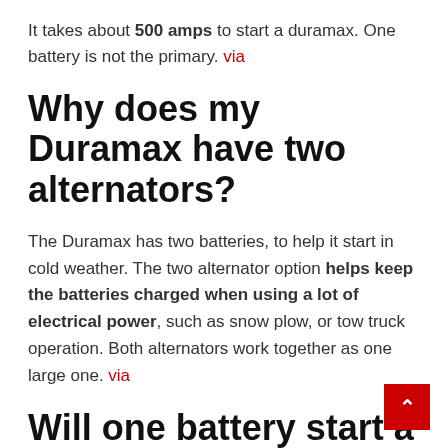It takes about 500 amps to start a duramax. One battery is not the primary. via
Why does my Duramax have two alternators?
The Duramax has two batteries, to help it start in cold weather. The two alternator option helps keep the batteries charged when using a lot of electrical power, such as snow plow, or tow truck operation. Both alternators work together as one large one. via
Will one battery start a diesel truck?